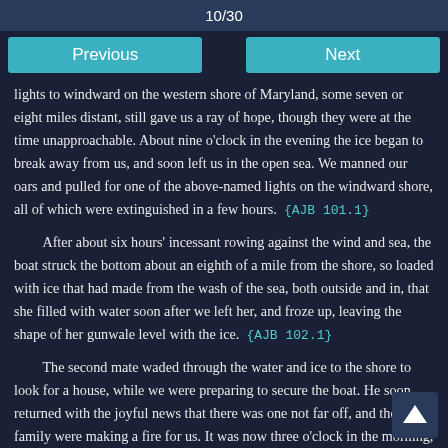10/30
Previous   Next
lights to windward on the western shore of Maryland, some seven or eight miles distant, still gave us a ray of hope, though they were at the time unapproachable. About nine o'clock in the evening the ice began to break away from us, and soon left us in the open sea. We manned our oars and pulled for one of the above-named lights on the windward shore, all of which were extinguished in a few hours.  {AJB 101.1}
After about six hours' incessant rowing against the wind and sea, the boat struck the bottom about an eighth of a mile from the shore, so loaded with ice that had made from the wash of the sea, both outside and in, that she filled with water soon after we left her, and froze up, leaving the shape of her gunwale level with the ice.  {AJB 102.1}
The second mate waded through the water and ice to the shore to look for a house, while we were preparing to secure the boat. He soon returned with the joyful news that there was one not far off, and the family were making a fire for us. It was now three o'clock in the morning, and we had been about thirteen hours in the boat, with hardly any cessation from